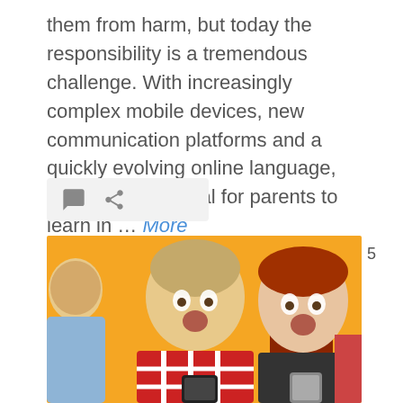them from harm, but today the responsibility is a tremendous challenge. With increasingly complex mobile devices, new communication platforms and a quickly evolving online language, there's a great deal for parents to learn in … More
[Figure (other): Icon bar with comment bubble and link/share icons on a light grey background]
5
[Figure (photo): Two teenagers looking at their smartphones with shocked expressions against an orange/yellow background. A boy in a red and white plaid shirt on the left and a girl with long red hair on the right.]